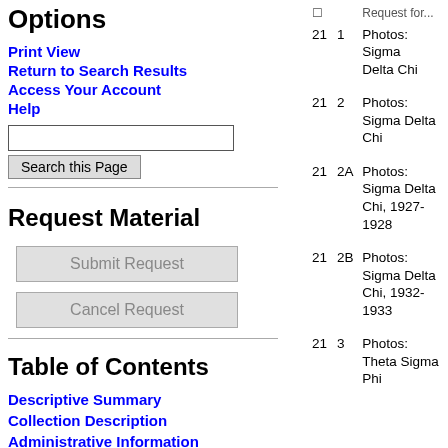Options
Print View
Return to Search Results
Access Your Account
Help
Request Material
Table of Contents
Descriptive Summary
Collection Description
Administrative Information
| Box | Folder | Description |
| --- | --- | --- |
| 21 | 1 | Photos: Sigma Delta Chi |
| 21 | 2 | Photos: Sigma Delta Chi |
| 21 | 2A | Photos: Sigma Delta Chi, 1927-1928 |
| 21 | 2B | Photos: Sigma Delta Chi, 1932-1933 |
| 21 | 3 | Photos: Theta Sigma Phi |